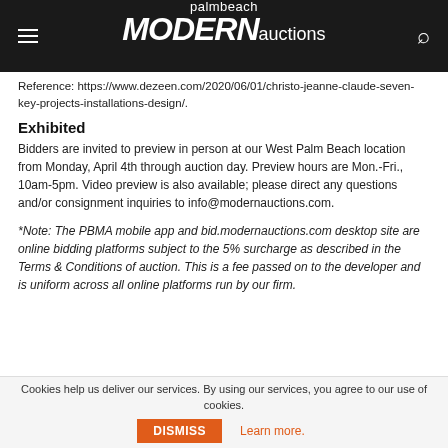palmbeach MODERN auctions
Reference: https://www.dezeen.com/2020/06/01/christo-jeanne-claude-seven-key-projects-installations-design/.
Exhibited
Bidders are invited to preview in person at our West Palm Beach location from Monday, April 4th through auction day. Preview hours are Mon.-Fri., 10am-5pm. Video preview is also available; please direct any questions and/or consignment inquiries to info@modernauctions.com.
*Note: The PBMA mobile app and bid.modernauctions.com desktop site are online bidding platforms subject to the 5% surcharge as described in the Terms & Conditions of auction. This is a fee passed on to the developer and is uniform across all online platforms run by our firm.
Cookies help us deliver our services. By using our services, you agree to our use of cookies. DISMISS Learn more.